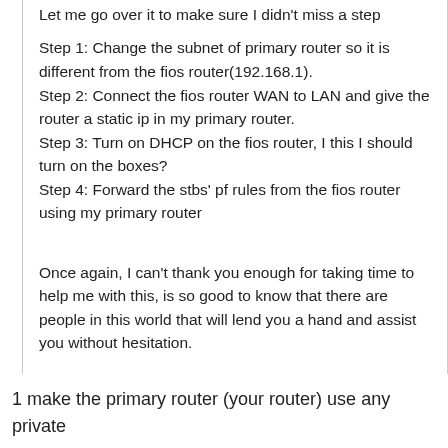Let me go over it to make sure I didn't miss a step
Step 1: Change the subnet of primary router so it is different from the fios router(192.168.1).
Step 2: Connect the fios router WAN to LAN and give the router a static ip in my primary router.
Step 3: Turn on DHCP on the fios router, I this I should turn on the boxes?
Step 4: Forward the stbs' pf rules from the fios router using my primary router
Once again, I can't thank you enough for taking time to help me with this, is so good to know that there are people in this world that will lend you a hand and assist you without hesitation.
1 make the primary router (your router) use any private